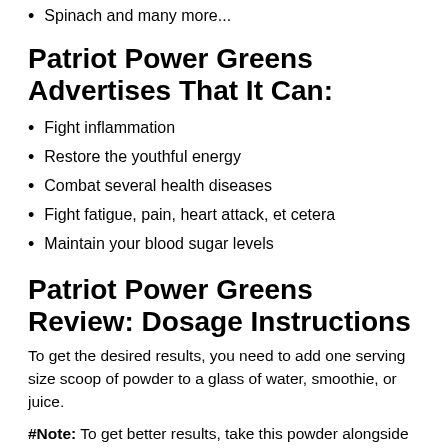Spinach and many more...
Patriot Power Greens Advertises That It Can:
Fight inflammation
Restore the youthful energy
Combat several health diseases
Fight fatigue, pain, heart attack, et cetera
Maintain your blood sugar levels
Patriot Power Greens Review: Dosage Instructions
To get the desired results, you need to add one serving size scoop of powder to a glass of water, smoothie, or juice.
#Note: To get better results, take this powder alongside healthy fats like nuts, avocado, and many more.